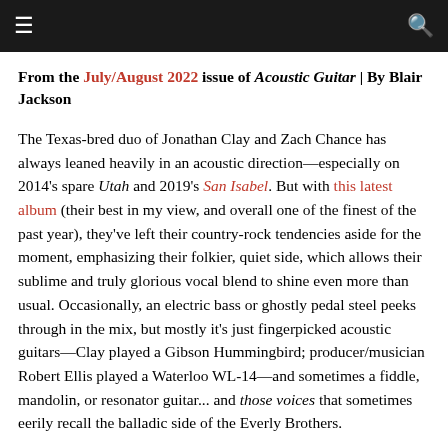≡  🔍
From the July/August 2022 issue of Acoustic Guitar | By Blair Jackson
The Texas-bred duo of Jonathan Clay and Zach Chance has always leaned heavily in an acoustic direction—especially on 2014's spare Utah and 2019's San Isabel. But with this latest album (their best in my view, and overall one of the finest of the past year), they've left their country-rock tendencies aside for the moment, emphasizing their folkier, quiet side, which allows their sublime and truly glorious vocal blend to shine even more than usual. Occasionally, an electric bass or ghostly pedal steel peeks through in the mix, but mostly it's just fingerpicked acoustic guitars—Clay played a Gibson Hummingbird; producer/musician Robert Ellis played a Waterloo WL-14—and sometimes a fiddle, mandolin, or resonator guitar... and those voices that sometimes eerily recall the balladic side of the Everly Brothers.